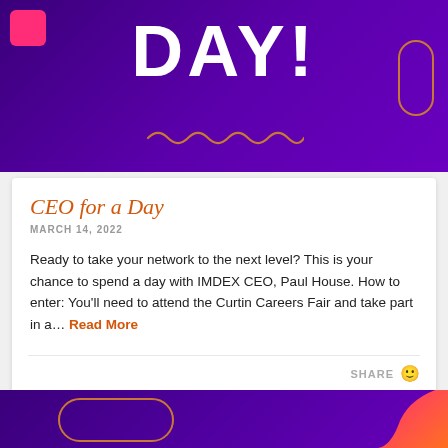[Figure (illustration): Purple gradient banner with large white bold text 'DAY!' and decorative elements: pink rectangle top-left, orange pill outline right, squiggly line bottom-center]
CEO for a Day
MARCH 14, 2022
Ready to take your network to the next level? This is your chance to spend a day with IMDEX CEO, Paul House. How to enter: You'll need to attend the Curtin Careers Fair and take part in a... Read More
[Figure (illustration): Purple gradient banner bottom strip with orange pill outline left and pink-orange swoosh shape right]